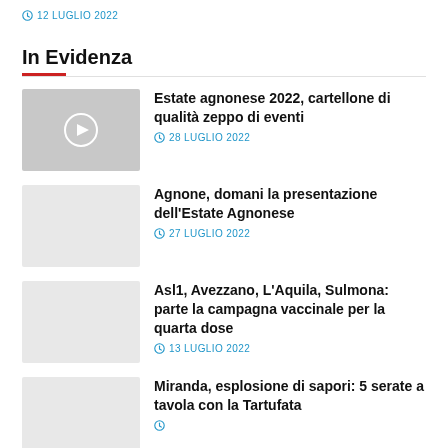12 LUGLIO 2022
In Evidenza
Estate agnonese 2022, cartellone di qualità zeppo di eventi
28 LUGLIO 2022
Agnone, domani la presentazione dell'Estate Agnonese
27 LUGLIO 2022
Asl1, Avezzano, L'Aquila, Sulmona: parte la campagna vaccinale per la quarta dose
13 LUGLIO 2022
Miranda, esplosione di sapori: 5 serate a tavola con la Tartufata